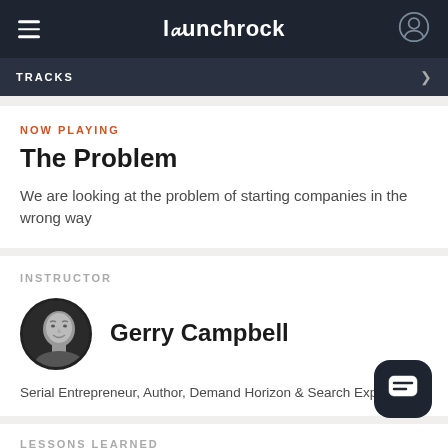launchrock
TRACKS
NOW PLAYING
The Problem
We are looking at the problem of starting companies in the wrong way
INSTRUCTOR
[Figure (photo): Black and white headshot photo of Gerry Campbell, a bald man]
Gerry Campbell
Serial Entrepreneur, Author, Demand Horizon & Search Expert
LESSONS LEARNED